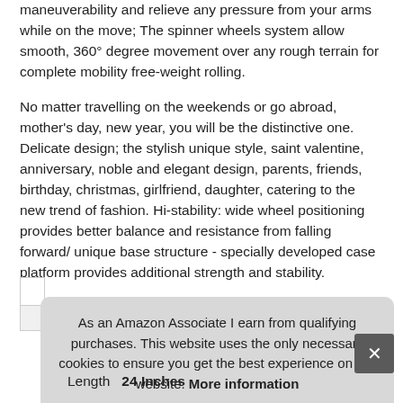maneuverability and relieve any pressure from your arms while on the move; The spinner wheels system allow smooth, 360° degree movement over any rough terrain for complete mobility free-weight rolling.
No matter travelling on the weekends or go abroad, mother's day, new year, you will be the distinctive one. Delicate design; the stylish unique style, saint valentine, anniversary, noble and elegant design, parents, friends, birthday, christmas, girlfriend, daughter, catering to the new trend of fashion. Hi-stability: wide wheel positioning provides better balance and resistance from falling forward/ unique base structure - specially developed case platform provides additional strength and stability.
As an Amazon Associate I earn from qualifying purchases. This website uses the only necessary cookies to ensure you get the best experience on our website. More information
Length 24 Inches